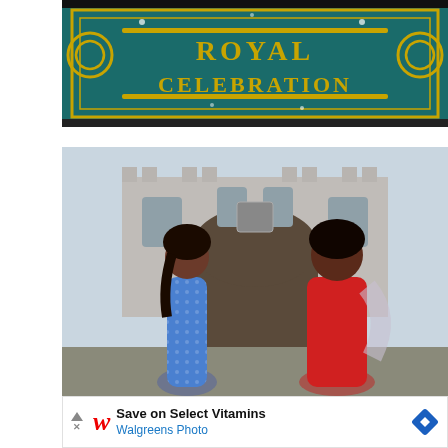[Figure (photo): A teal and gold 'Royal Celebration' banner with Celtic knot decorative elements and golden stars/swirls]
[Figure (photo): Two women standing in front of a castle structure. The woman on the left wears a blue floral dress, the woman on the right wears a red dress with a lace shawl.]
Save on Select Vitamins
Walgreens Photo